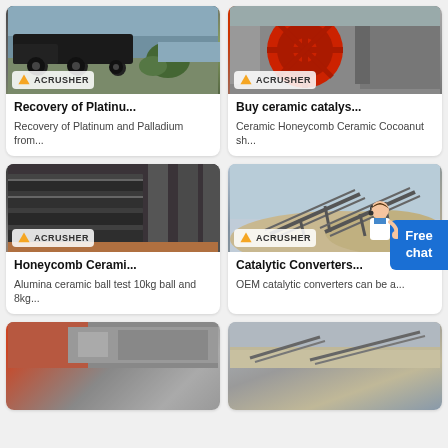[Figure (photo): Truck/mobile crushing equipment with ACRUSHER branding]
Recovery of Platinu...
Recovery of Platinum and Palladium from...
[Figure (photo): Red wheel crusher machine with ACRUSHER branding]
Buy ceramic catalys...
Ceramic Honeycomb Ceramic Cocoanut sh...
[Figure (photo): Honeycomb ceramic panels/bars with ACRUSHER branding]
Honeycomb Cerami...
Alumina ceramic ball test 10kg ball and 8kg...
[Figure (photo): Conveyor belt system at aggregate/quarry site with ACRUSHER branding]
Catalytic Converters...
OEM catalytic converters can be a...
[Figure (photo): Bottom left partial image - industrial machinery]
[Figure (photo): Bottom right partial image - aggregate/quarry conveyor]